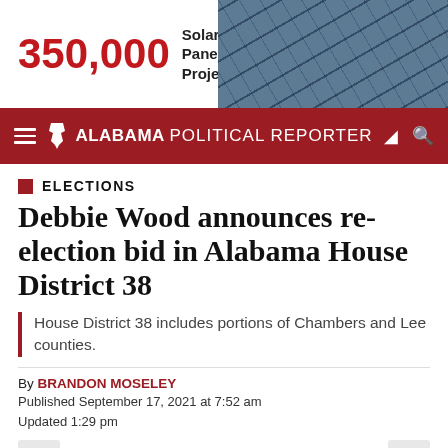[Figure (photo): Advertisement banner: bold red '350,000' number with 'Solar Panel Project' text on white left side, aerial photo of solar panels on right side with gray strip on far left]
ALABAMA POLITICAL REPORTER
ELECTIONS
Debbie Wood announces re-election bid in Alabama House District 38
House District 38 includes portions of Chambers and Lee counties.
By BRANDON MOSELEY
Published September 17, 2021 at 7:52 am
Updated 1:29 pm